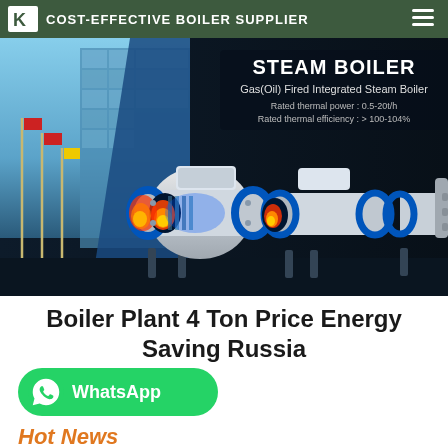COST-EFFECTIVE BOILER SUPPLIER
[Figure (photo): Banner image showing industrial building on left with flagpoles and three steam boilers (Gas/Oil Fired Integrated Steam Boilers) on dark background with product specifications]
STEAM BOILER
Gas(Oil) Fired Integrated Steam Boiler
Rated thermal power : 0.5-20t/h
Rated thermal efficiency : > 100-104%
Boiler Plant 4 Ton Price Energy Saving Russia
[Figure (logo): WhatsApp button - green rounded rectangle with WhatsApp icon and label]
Hot News